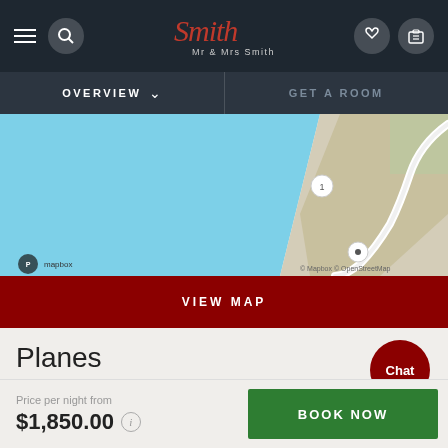Mr & Mrs Smith - navigation bar with Overview and Get A Room
[Figure (map): Coastal map showing Mapbox map with blue ocean/water on the left, tan/beige land on the right with white road winding through it, and two circular markers labeled 1. Mapbox © OpenStreetMap attribution shown.]
VIEW MAP
Planes
Monterey has the closest airport – it's 30 miles away from the hotel.
Price per night from $1,850.00
BOOK NOW